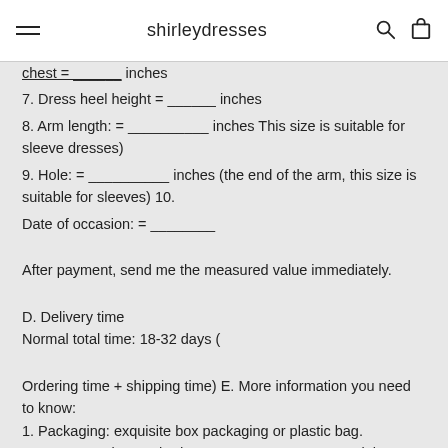shirleydresses
chest = ______ inches
7. Dress heel height = ______ inches
8. Arm length: = __________ inches This size is suitable for sleeve dresses)
9. Hole: = __________ inches (the end of the arm, this size is suitable for sleeves) 10.
Date of occasion: = ________
After payment, send me the measured value immediately.
D. Delivery time
Normal total time: 18-32 days (
Ordering time + shipping time) E. More information you need to know:
1. Packaging: exquisite box packaging or plastic bag.
2. Transportation method: UPS or DHL or some special